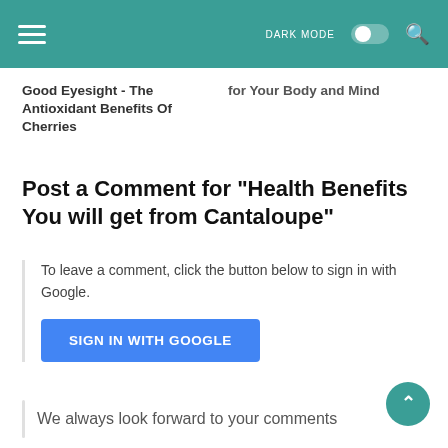DARK MODE [toggle] [search]
Good Eyesight - The Antioxidant Benefits Of Cherries
for Your Body and Mind
Post a Comment for "Health Benefits You will get from Cantaloupe"
To leave a comment, click the button below to sign in with Google.
SIGN IN WITH GOOGLE
We always look forward to your comments